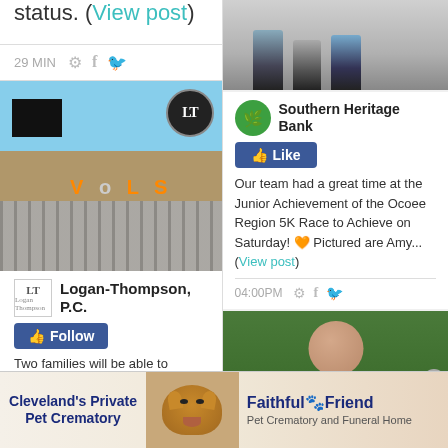status. (View post)
29 MIN
[Figure (photo): Photo of Neyland Stadium exterior showing VOLS lettering, with a badge/logo circle in top right corner]
Logan-Thompson, P.C.
Two families will be able to attend the Big Orange Kickoff
[Figure (photo): Photo of people's legs in athletic wear on pavement, likely at a 5K race]
Southern Heritage Bank
Our team had a great time at the Junior Achievement of the Ocoee Region 5K Race to Achieve on Saturday! 🧡 Pictured are Amy... (View post)
04:00PM
[Figure (photo): Photo of elderly person outdoors with greenery in background]
Cleveland's Private Pet Crematory — Faithful🐾Friend Pet Crematory and Funeral Home (advertisement banner)